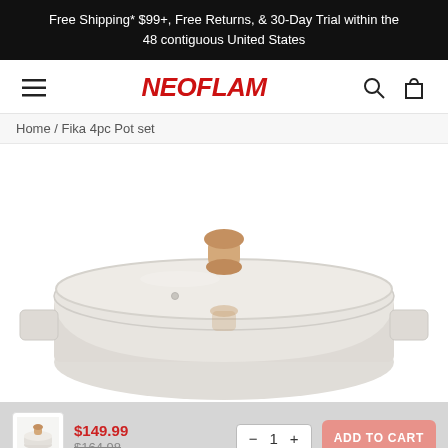Free Shipping* $99+, Free Returns, & 30-Day Trial within the 48 contiguous United States
[Figure (logo): NEOFLAM brand logo in red bold italic text with hamburger menu, search icon, and shopping bag icon]
Home / Fika 4pc Pot set
[Figure (photo): Light grey ceramic pot with wooden knob lid, viewed from above at slight angle. The pot has two square handles and a glass lid with a rounded wood-toned knob.]
[Figure (photo): Bottom cart bar with product thumbnail, price $149.99 (was $164.98), quantity selector showing 1, and ADD TO CART button]